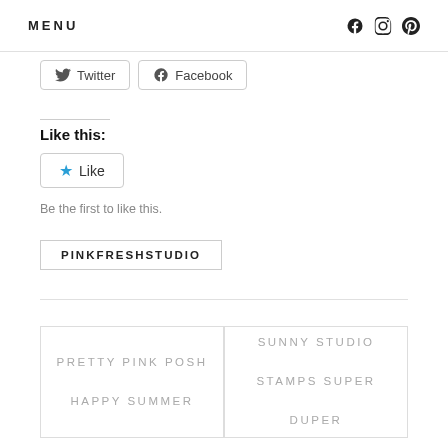MENU
[Figure (screenshot): Twitter and Facebook share buttons]
Like this:
[Figure (screenshot): Like button with star icon]
Be the first to like this.
PINKFRESHSTUDIO
PRETTY PINK POSH
HAPPY SUMMER
SUNNY STUDIO STAMPS SUPER DUPER